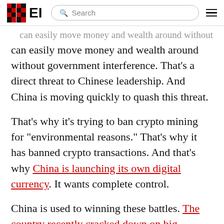EI | Search
can easily move money and wealth around without government interference. That’s a direct threat to Chinese leadership. And China is moving quickly to quash this threat.
That’s why it’s trying to ban crypto mining for “environmental reasons.” That’s why it has banned crypto transactions. And that’s why China is launching its own digital currency. It wants complete control.
China is used to winning these battles. The country recently cracked down on big Chinese technology